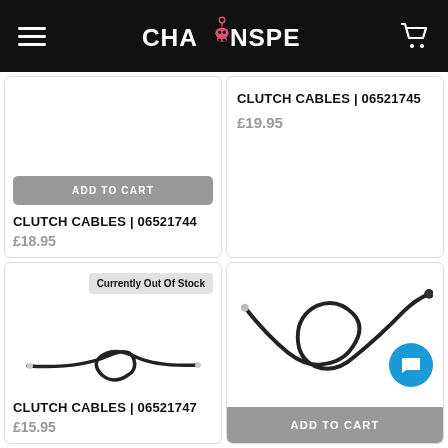CHAINSPEED
[Figure (screenshot): Product card top-left: ADD TO CART button, product name CLUTCH CABLES | 06521744, price £18.95]
[Figure (screenshot): Product card top-right: CLUTCH CABLES | 06521745, price £19.95]
[Figure (screenshot): Product card bottom-left: Currently Out Of Stock badge, clutch cable image, name CLUTCH CABLES | 06521747, price partially visible]
[Figure (photo): Product card bottom-right: clutch cable product image, ADD TO CART button at bottom]